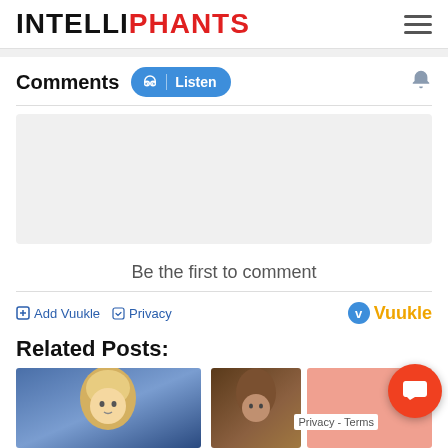INTELLIPHANTS
Comments
[Figure (screenshot): Listen button with headphone icon in blue pill shape]
[Figure (screenshot): Gray comment input area placeholder box]
Be the first to comment
Add Vuukle  Privacy  Vuukle
Related Posts:
[Figure (photo): Thumbnail of person with blonde hair against blue/purple background]
[Figure (photo): Thumbnail of person with brown hair]
[Figure (photo): Salmon/pink colored thumbnail placeholder]
[Figure (screenshot): Orange circular FAB button with speech bubble icon]
Privacy - Terms